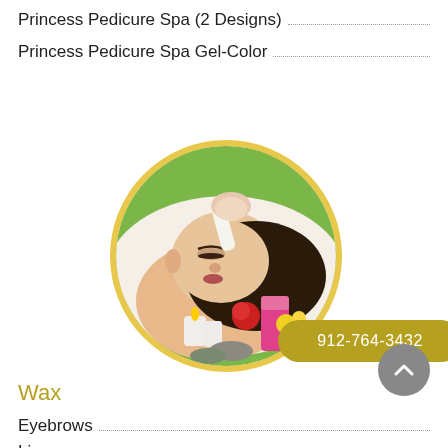Princess Pedicure Spa (2 Designs)
Princess Pedicure Spa Gel-Color
[Figure (photo): Circular photo of a woman receiving a facial spa treatment, lying down with eyes closed, candles and flowers in background. Gold dotted border around circle.]
Wax
Eyebrows
Lip